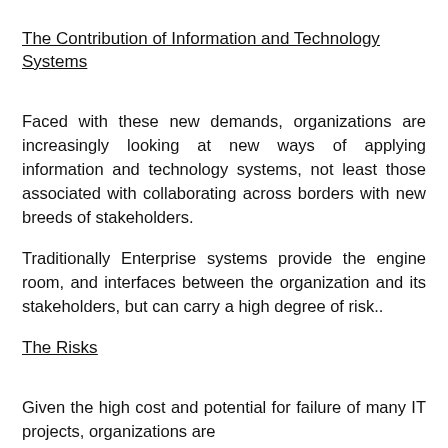The Contribution of Information and Technology Systems
Faced with these new demands, organizations are increasingly looking at new ways of applying information and technology systems, not least those associated with collaborating across borders with new breeds of stakeholders.
Traditionally Enterprise systems provide the engine room, and interfaces between the organization and its stakeholders, but can carry a high degree of risk..
The Risks
Given the high cost and potential for failure of many IT projects, organizations are